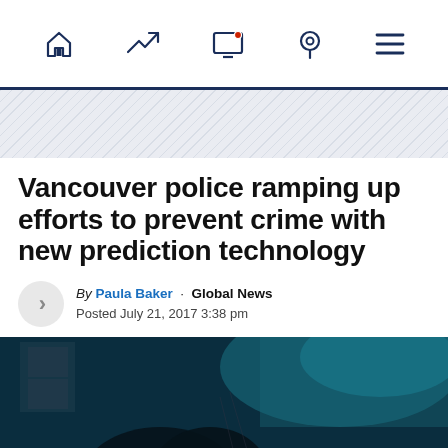Navigation bar with home, trending, live TV, location, and menu icons
[Figure (photo): Hatched diagonal stripe banner/advertisement area]
Vancouver police ramping up efforts to prevent crime with new prediction technology
By Paula Baker · Global News
Posted July 21, 2017 3:38 pm
[Figure (photo): Dark blue-tinted photo of a person in a low-light interior environment, possibly police or surveillance related scene]